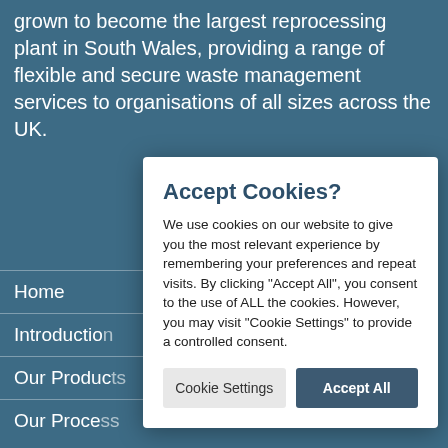grown to become the largest reprocessing plant in South Wales, providing a range of flexible and secure waste management services to organisations of all sizes across the UK.
Home
Introduction
Our Products
Our Process
Services
Educating Our...
News & Blogs
[Figure (screenshot): Cookie consent modal dialog with title 'Accept Cookies?', body text explaining cookie usage, and two buttons: 'Cookie Settings' and 'Accept All']